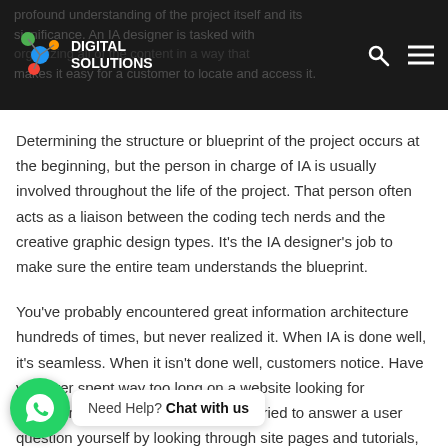Digital Solutions — navigation header with logo
Determining the structure or blueprint of the project occurs at the beginning, but the person in charge of IA is usually involved throughout the life of the project. That person often acts as a liaison between the coding tech nerds and the creative graphic design types. It's the IA designer's job to make sure the entire team understands the blueprint.
You've probably encountered great information architecture hundreds of times, but never realized it. When IA is done well, it's seamless. When it isn't done well, customers notice. Have you ever spent way too long on a website looking for something simple like a directory, or tried to answer a user question yourself by looking through site pages and tutorials, but you couldn't find anything that pertained